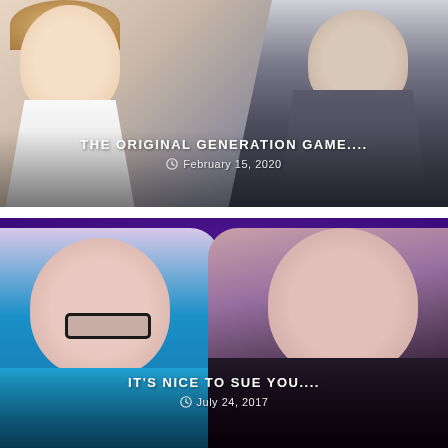[Figure (photo): Two people photo — a woman in a white lace top on the left and a man in a dark suit on the right, with overlaid text 'THE ORIGINAL GENERATION GAME....' and date 'February 15, 2020']
THE ORIGINAL GENERATION GAME....
February 15, 2020
[Figure (photo): Two women posing in front of a purple polka-dot background — left woman wearing glasses and a teal jacket, right woman with brown hair and dark jacket, with overlaid text 'IT'S NICE TO SUE YOU....' and date 'July 24, 2017']
IT'S NICE TO SUE YOU....
July 24, 2017